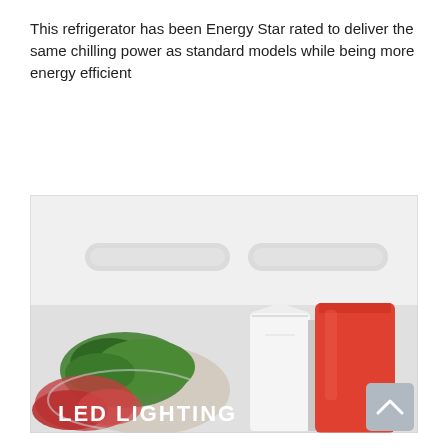This refrigerator has been Energy Star rated to deliver the same chilling power as standard models while being more energy efficient
[Figure (photo): Interior view of a refrigerator showing LED lighting, with green leafy vegetables, meat, a white milk/cream container, and a red juice bottle. Text overlay reads 'LED LIGHTING' in white bold letters. A grey scroll-up button is visible in the bottom right corner.]